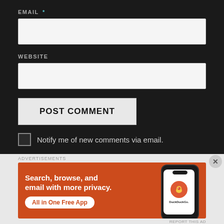EMAIL *
WEBSITE
POST COMMENT
Notify me of new comments via email.
[Figure (screenshot): DuckDuckGo advertisement banner with orange background showing 'Search, browse, and email with more privacy. All in One Free App' with a phone mockup showing the DuckDuckGo app icon]
ADVERTISEMENTS
REPORT THIS AD